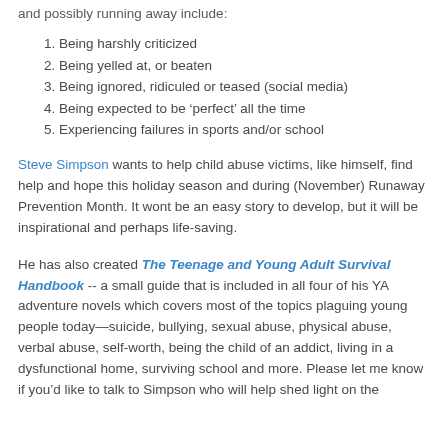and possibly running away include:
1. Being harshly criticized
2. Being yelled at, or beaten
3. Being ignored, ridiculed or teased (social media)
4. Being expected to be ‘perfect’ all the time
5. Experiencing failures in sports and/or school
Steve Simpson wants to help child abuse victims, like himself, find help and hope this holiday season and during (November) Runaway Prevention Month. It wont be an easy story to develop, but it will be inspirational and perhaps life-saving.
He has also created The Teenage and Young Adult Survival Handbook -- a small guide that is included in all four of his YA adventure novels which covers most of the topics plaguing young people today—suicide, bullying, sexual abuse, physical abuse, verbal abuse, self-worth, being the child of an addict, living in a dysfunctional home, surviving school and more. Please let me know if you’d like to talk to Simpson who will help shed light on the